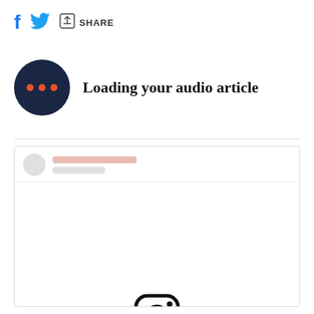[Figure (infographic): Social share icons: Facebook f icon, Twitter bird icon, share arrow icon with SHARE text]
[Figure (infographic): Dark navy circle with three orange dots (audio loading indicator) next to bold text 'Loading your audio article']
[Figure (screenshot): Embedded social media card placeholder with skeleton loading header (circle avatar, two placeholder lines) and Instagram logo icon centered in the body area]